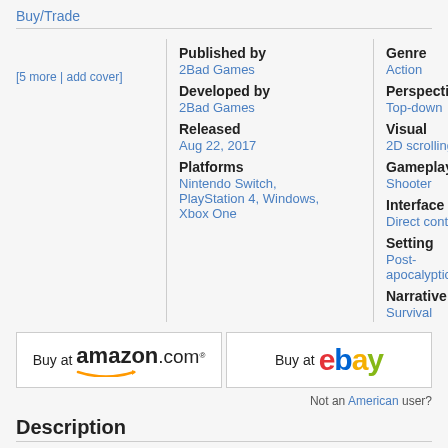Buy/Trade
| Published by | 2Bad Games | Genre | Action |
| Developed by | 2Bad Games | Perspective | Top-down |
| Released | Aug 22, 2017 | Visual | 2D scrolling |
| Platforms | Nintendo Switch, PlayStation 4, Windows, Xbox One | Gameplay | Shooter |
|  |  | Interface | Direct control |
|  |  | Setting | Post-apocalyptic |
|  |  | Narrative | Survival |
[5 more | add cover]
[Figure (logo): Buy at amazon.com button]
[Figure (logo): Buy at ebay button]
Not an American user?
Description